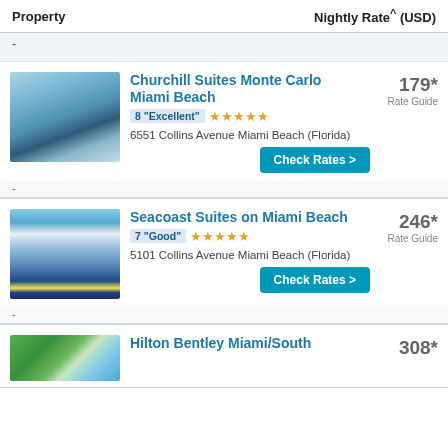| Property | Nightly Rate^ (USD) |
| --- | --- |
| - |  |
| Churchill Suites Monte Carlo Miami Beach | 8 "Excellent" ★★★★★ | 6551 Collins Avenue Miami Beach (Florida) | 179* Rate Guide |
| - |  |
| Seacoast Suites on Miami Beach | 7 "Good" ★★★★★ | 5101 Collins Avenue Miami Beach (Florida) | 246* Rate Guide |
| - |  |
| Hilton Bentley Miami/South | 308* |